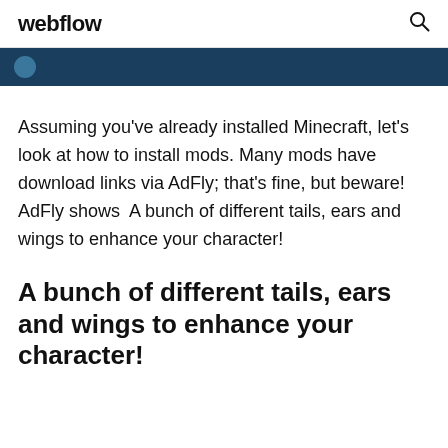webflow
Assuming you've already installed Minecraft, let's look at how to install mods. Many mods have download links via AdFly; that's fine, but beware! AdFly shows  A bunch of different tails, ears and wings to enhance your character!
A bunch of different tails, ears and wings to enhance your character!